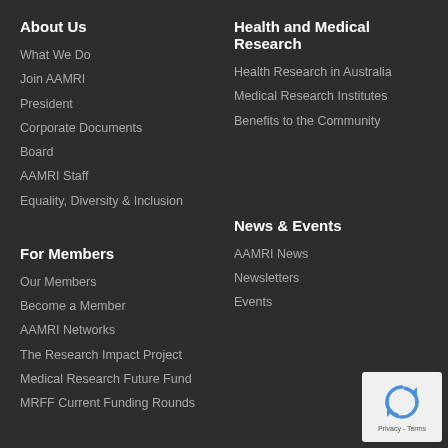About Us
What We Do
Join AAMRI
President
Corporate Documents
Board
AAMRI Staff
Equality, Diversity & Inclusion
Health and Medical Research
Health Research in Australia
Medical Research Institutes
Benefits to the Community
For Members
Our Members
Become a Member
AAMRI Networks
The Research Impact Project
Medical Research Future Fund
MRFF Current Funding Rounds
News & Events
AAMRI News
Newsletters
Events
Policy & Resources
Reports & other sector info
Submissions
[Figure (logo): reCAPTCHA badge with recycling-arrow logo and Privacy - Terms text]